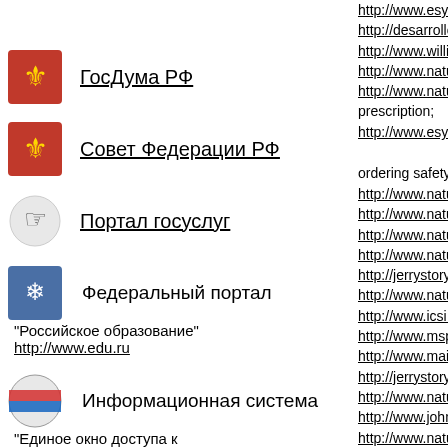ГосДума РФ
Совет Федерации РФ
Портал госуслуг
Федеральный портал "Российское образование" http://www.edu.ru
Информационная система "Единое окно доступа к образовательным ресурсам" http://window.edu.ru
http://www.esye.org
http://desarrollofis...
http://www.willinga
http://www.nature.c
http://www.nature.c
prescription;
http://www.esye.org
ordering safety onlin
http://www.nature.c
http://www.nature.c
http://www.nature.c
http://www.nature.c
http://jerrystory.co...
http://www.nature.c
http://www.icsi.edu/
http://www.mspgrov
http://www.mainely
http://jerrystory.co...
http://www.nature.c
http://www.johnashl
http://www.nature.c